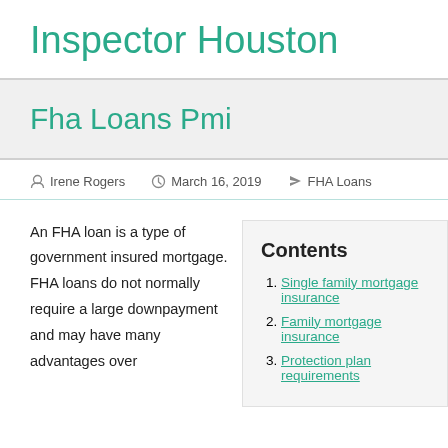Inspector Houston
Fha Loans Pmi
Irene Rogers   March 16, 2019   FHA Loans
An FHA loan is a type of government insured mortgage. FHA loans do not normally require a large downpayment and may have many advantages over
Contents
1. Single family mortgage insurance
2. Family mortgage insurance
3. Protection plan requirements